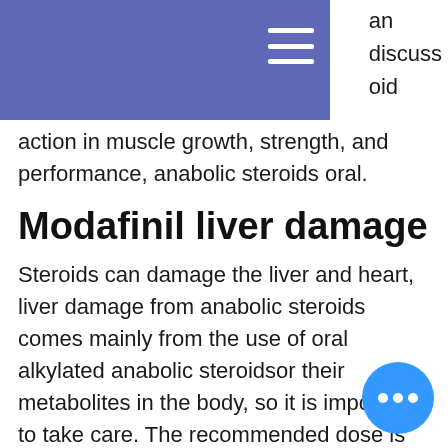an discuss oid
action in muscle growth, strength, and performance, anabolic steroids oral.
Modafinil liver damage
Steroids can damage the liver and heart, liver damage from anabolic steroids comes mainly from the use of oral alkylated anabolic steroidsor their metabolites in the body, so it is important to take care. The recommended dose is 4-6 weeks and should be avoided in patients with underlying liver disease. The drug is safe and no other medication is necessary to treat serious anabolic steroid toxicity, modafinil liver damage.
Topical therapy is recommended in both male and female patients with anabolic steroid-associated liver disease, anabolic